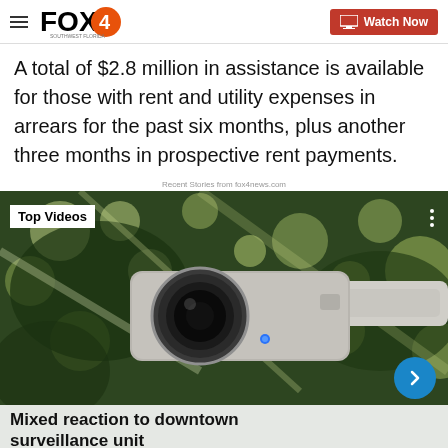FOX4 — Watch Now
A total of $2.8 million in assistance is available for those with rent and utility expenses in arrears for the past six months, plus another three months in prospective rent payments.
Recent Stories from fox4news.com
[Figure (photo): Video thumbnail showing a security camera mounted outdoors with a blurred green tree background. Overlay badge reads 'Top Videos'. Three-dot menu icon at top right. Blue circular arrow button at bottom right. White caption bar at bottom reads 'Mixed reaction to downtown surveillance unit'.]
Mixed reaction to downtown surveillance unit